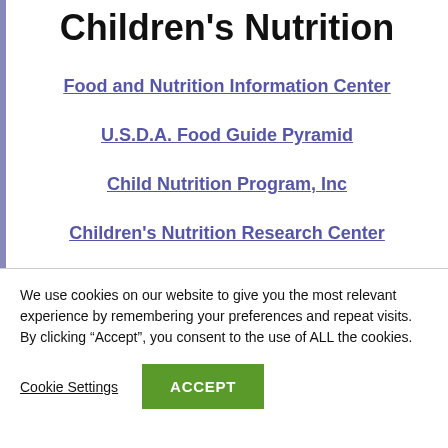Children's Nutrition
Food and Nutrition Information Center
U.S.D.A. Food Guide Pyramid
Child Nutrition Program, Inc
Children's Nutrition Research Center
We use cookies on our website to give you the most relevant experience by remembering your preferences and repeat visits. By clicking “Accept”, you consent to the use of ALL the cookies.
Cookie Settings  ACCEPT